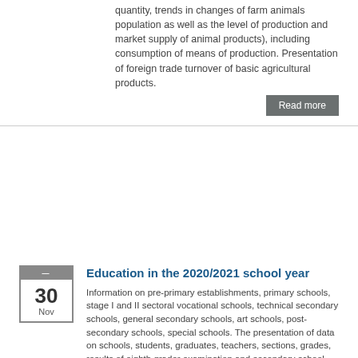quantity, trends in changes of farm animals population as well as the level of production and market supply of animal products), including consumption of means of production. Presentation of foreign trade turnover of basic agricultural products.
Read more
Education in the 2020/2021 school year
Information on pre-primary establishments, primary schools, stage I and II sectoral vocational schools, technical secondary schools, general secondary schools, art schools, post-secondary schools, special schools. The presentation of data on schools, students, graduates, teachers, sections, grades, results of eighth grader examination and secondary school matriculation examination as well as pre-primary education and selected forms of child and youth care. Apart from tabular part, executive summary and methodological notes.
Read more